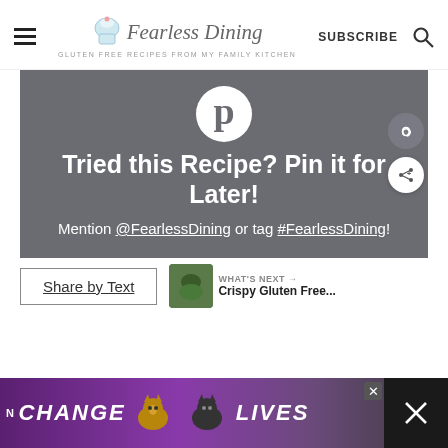Fearless Dining — GLUTEN FREE RECIPES FROM MY FAMILY KITCHEN — SUBSCRIBE
[Figure (screenshot): Pinterest promotional block on gray background with Pinterest logo, text 'Tried this Recipe? Pin it for Later! Mention @FearlessDining or tag #FearlessDining!' with social share buttons]
Share by Text
WHAT'S NEXT → Crispy Gluten Free...
[Figure (screenshot): Advertisement banner at bottom: purple background with cats, text 'CHANGE LIVES' with close button and X on right side]